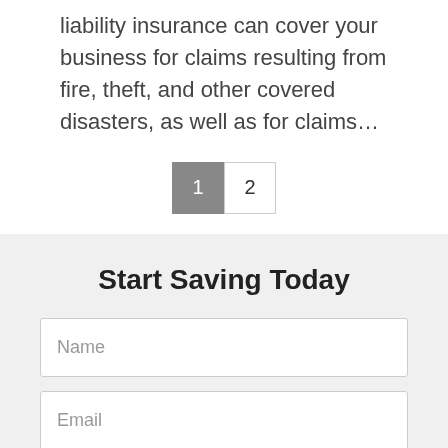liability insurance can cover your business for claims resulting from fire, theft, and other covered disasters, as well as for claims…
1  2
Start Saving Today
Name
Email